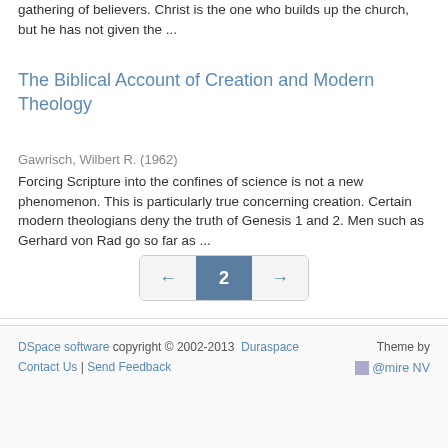gathering of believers. Christ is the one who builds up the church, but he has not given the ...
The Biblical Account of Creation and Modern Theology
Gawrisch, Wilbert R. (1962)
Forcing Scripture into the confines of science is not a new phenomenon. This is particularly true concerning creation. Certain modern theologians deny the truth of Genesis 1 and 2. Men such as Gerhard von Rad go so far as ...
[Figure (other): Pagination control showing previous arrow, current page 2 highlighted in blue-grey, and next arrow button]
DSpace software copyright © 2002-2013  Duraspace  Contact Us | Send Feedback    Theme by  @mire NV